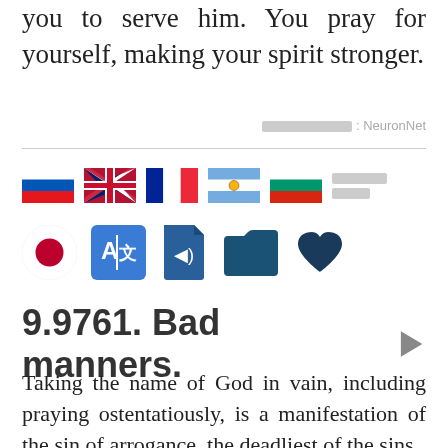you to serve him. You pray for yourself, making your spirit stronger.
████████████: NeuronNet
[Figure (other): Row of country flags (Russia, UK, France, Argentina, Bulgaria) and a redacted text label, followed by a row of icons: Japan flag circle, translation icon, audio icon, folder icon, heart icon]
9.9761. Bad manners.
Taking the name of God in vain, including praying ostentatiously, is a manifestation of the sin of arrogance, the deadliest of the sins.